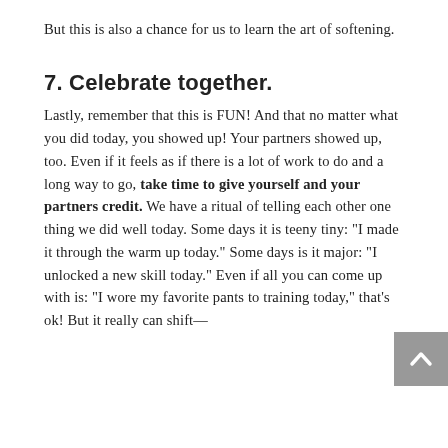But this is also a chance for us to learn the art of softening.
7. Celebrate together.
Lastly, remember that this is FUN! And that no matter what you did today, you showed up!  Your partners showed up, too.  Even if it feels as if there is a lot of work to do and a long way to go, take time to give yourself and your partners credit.  We have a ritual of telling each other one thing we did well today. Some days it is teeny tiny: "I made it through the warm up today."  Some days is it major: "I unlocked a new skill today." Even if all you can come up with is: "I wore my favorite pants to training today," that's ok! But it really can shift—